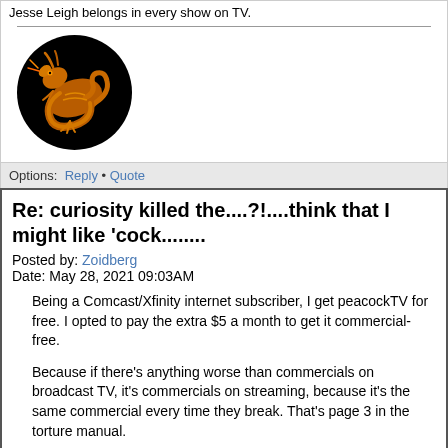Jesse Leigh belongs in every show on TV.
[Figure (illustration): Circular avatar image with black background showing a golden/orange dragon illustration]
Options: Reply • Quote
Re: curiosity killed the....?!....think that I might like 'cock........
Posted by: Zoidberg
Date: May 28, 2021 09:03AM
Being a Comcast/Xfinity internet subscriber, I get peacockTV for free. I opted to pay the extra $5 a month to get it commercial-free.
Because if there's anything worse than commercials on broadcast TV, it's commercials on streaming, because it's the same commercial every time they break. That's page 3 in the torture manual.
See also John Mulaney's Salt & Pepper Diner routine.